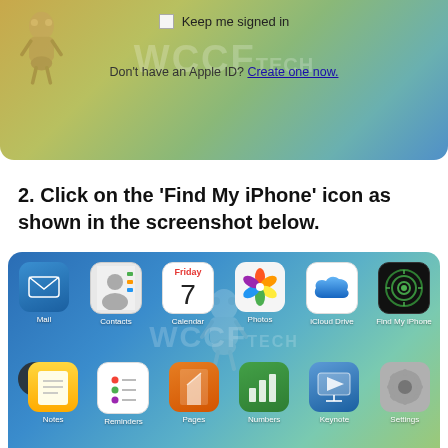[Figure (screenshot): iOS iCloud sign-in screen with 'Keep me signed in' checkbox and 'Don't have an Apple ID? Create one now.' link, with WCCF Tech watermark]
2. Click on the 'Find My iPhone' icon as shown in the screenshot below.
[Figure (screenshot): iOS iCloud app grid showing Mail, Contacts, Calendar, Photos, iCloud Drive, Find My iPhone (row 1) and Notes, Reminders, Pages, Numbers, Keynote, Settings (row 2) apps on a colorful gradient background]